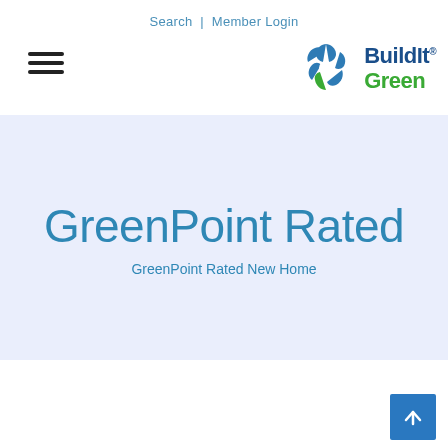Search | Member Login
[Figure (logo): Build It Green logo with circular leaf/recycling icon in blue and green, with text 'BuildIt Green' where 'Green' is in green color]
GreenPoint Rated
GreenPoint Rated New Home